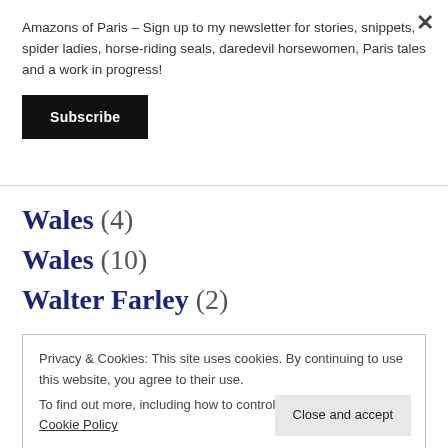Amazons of Paris – Sign up to my newsletter for stories, snippets, spider ladies, horse-riding seals, daredevil horsewomen, Paris tales and a work in progress!
Subscribe
Wales (4)
Wales (10)
Walter Farley (2)
Privacy & Cookies: This site uses cookies. By continuing to use this website, you agree to their use.
To find out more, including how to control cookies, see here: Cookie Policy
Close and accept
Ways of Seeing Horses (1)